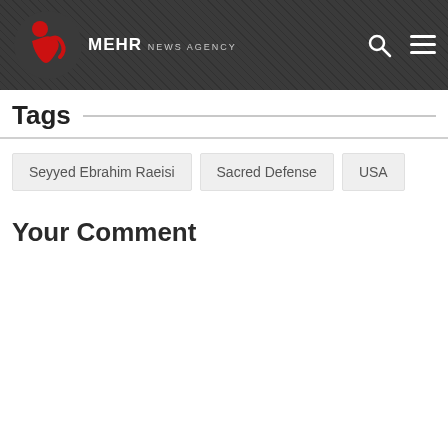[Figure (logo): Mehr News Agency logo with red stylized icon and text 'MEHR NEWS AGENCY' on dark header bar with search and menu icons]
Tags
Seyyed Ebrahim Raeisi
Sacred Defense
USA
Your Comment